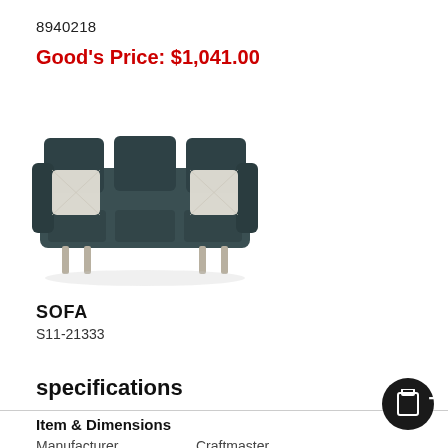8940218
Good's Price: $1,041.00
[Figure (photo): A dark teal/slate three-seat sofa with two decorative cream patterned throw pillows on each arm, angled legs in light metal finish, viewed from the front.]
SOFA
S11-21333
specifications
Item & Dimensions
|  |  |
| --- | --- |
| Manufacturer | Craftmaster |